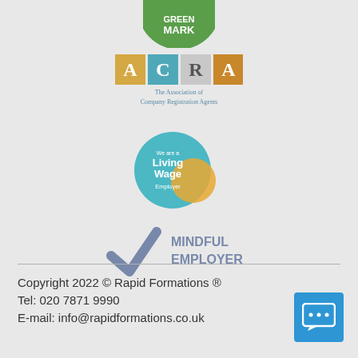[Figure (logo): Green Mark logo - partial circle with text MARK in white on green background]
[Figure (logo): ACRA logo - The Association of Company Registration Agents, golden and teal colored blocks with letters A C R A]
[Figure (logo): Living Wage Employer logo - teal circle with text 'We are a Living Wage Employer' and yellow/orange overlapping circle]
[Figure (logo): Mindful Employer logo - blue/grey checkmark with text MINDFUL EMPLOYER]
Copyright 2022 © Rapid Formations ®
Tel: 020 7871 9990
E-mail: info@rapidformations.co.uk